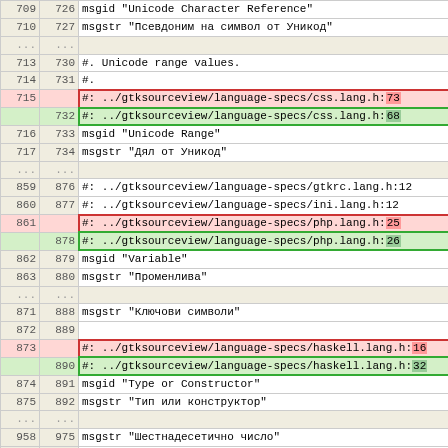| old | new | content |
| --- | --- | --- |
| 709 | 726 | msgid "Unicode Character Reference" |
| 710 | 727 | msgstr "Псевдоним на символ от Уникод" |
| ... | ... |  |
| 713 | 730 | #. Unicode range values. |
| 714 | 731 | #. |
| 715 |  | #: ../gtksourceview/language-specs/css.lang.h:73 |
|  | 732 | #: ../gtksourceview/language-specs/css.lang.h:68 |
| 716 | 733 | msgid "Unicode Range" |
| 717 | 734 | msgstr "Дял от Уникод" |
| ... | ... |  |
| 859 | 876 | #: ../gtksourceview/language-specs/gtkrc.lang.h:12 |
| 860 | 877 | #: ../gtksourceview/language-specs/ini.lang.h:12 |
| 861 |  | #: ../gtksourceview/language-specs/php.lang.h:25 |
|  | 878 | #: ../gtksourceview/language-specs/php.lang.h:26 |
| 862 | 879 | msgid "Variable" |
| 863 | 880 | msgstr "Променлива" |
| ... | ... |  |
| 871 | 888 | msgstr "Ключови символи" |
| 872 | 889 |  |
| 873 |  | #: ../gtksourceview/language-specs/haskell.lang.h:16 |
|  | 890 | #: ../gtksourceview/language-specs/haskell.lang.h:32 |
| 874 | 891 | msgid "Type or Constructor" |
| 875 | 892 | msgstr "Тип или конструктор" |
| ... | ... |  |
| 958 | 975 | msgstr "Шестнадесетично число" |
| 959 | 976 |  |
| 960 |  | #: ../gtksourceview/language-specs/javascript.lang.h:13 |
|  | 977 | #: ../gtksourceview/language- |